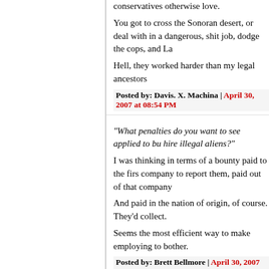conservatives otherwise love.
You got to cross the Sonoran desert, or deal with in a dangerous, shit job, dodge the cops, and La
Hell, they worked harder than my legal ancestors
Posted by: Davis. X. Machina | April 30, 2007 at 08:54 PM
"What penalties do you want to see applied to businesses that hire illegal aliens?"
I was thinking in terms of a bounty paid to the first company to report them, paid out of that company
And paid in the nation of origin, of course. They'd collect.
Seems the most efficient way to make employing to bother.
Posted by: Brett Bellmore | April 30, 2007 at 09:18 PM
Cleek, think War on Drugs and all will be clear
so... a multi-generational failure that eventually tu